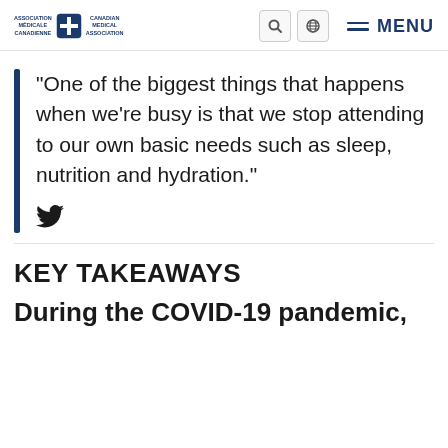Canadian Medical Association / Association Médicale Canadienne — MENU
"One of the biggest things that happens when we're busy is that we stop attending to our own basic needs such as sleep, nutrition and hydration."
KEY TAKEAWAYS
During the COVID-19 pandemic,